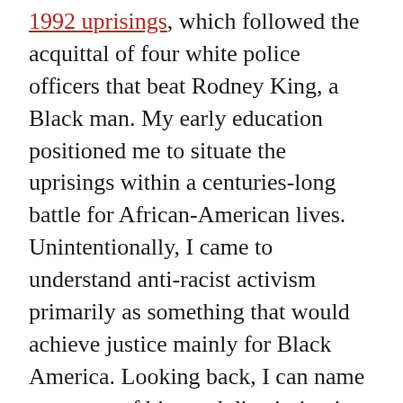1992 uprisings, which followed the acquittal of four white police officers that beat Rodney King, a Black man. My early education positioned me to situate the uprisings within a centuries-long battle for African-American lives. Unintentionally, I came to understand anti-racist activism primarily as something that would achieve justice mainly for Black America. Looking back, I can name moments of bias and discrimination against my Asianness, but I started my racial justice journey as having bought into a Black-white binary, and seeing myself as an aspiring ally without attention to my own need for liberation from white supremacy. Moreover, I saw my Filipino parents, invested in an economic American D...